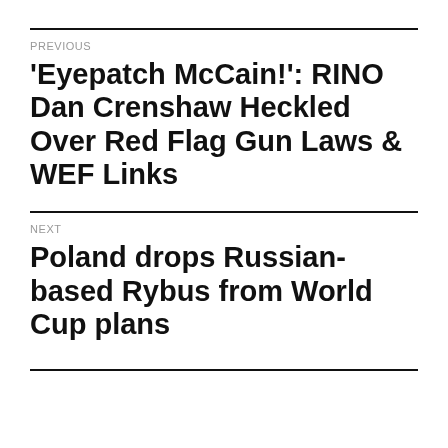PREVIOUS
'Eyepatch McCain!': RINO Dan Crenshaw Heckled Over Red Flag Gun Laws & WEF Links
NEXT
Poland drops Russian-based Rybus from World Cup plans